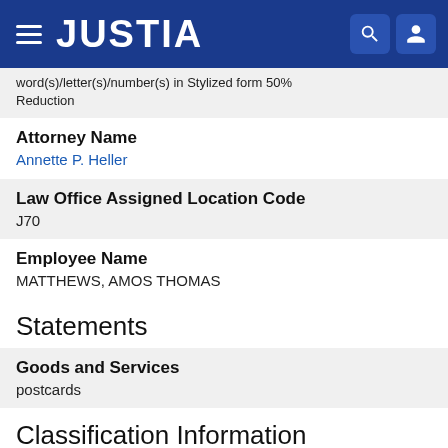JUSTIA
word(s)/letter(s)/number(s) in Stylized form 50% Reduction
Attorney Name
Annette P. Heller
Law Office Assigned Location Code
J70
Employee Name
MATTHEWS, AMOS THOMAS
Statements
Goods and Services
postcards
Classification Information